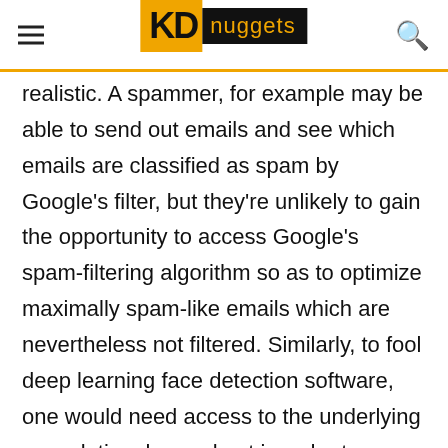KD nuggets
realistic. A spammer, for example may be able to send out emails and see which emails are classified as spam by Google's filter, but they're unlikely to gain the opportunity to access Google's spam-filtering algorithm so as to optimize maximally spam-like emails which are nevertheless not filtered. Similarly, to fool deep learning face detection software, one would need access to the underlying convolutional neural net in order to precisely doctor the image.